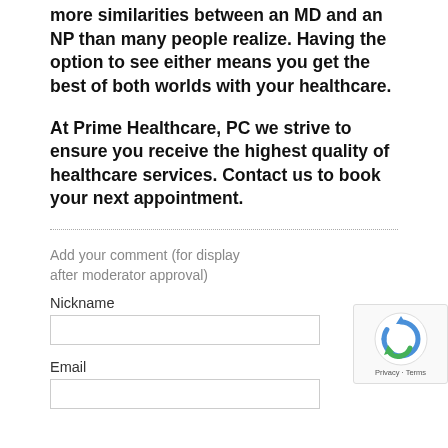more similarities between an MD and an NP than many people realize. Having the option to see either means you get the best of both worlds with your healthcare.
At Prime Healthcare, PC we strive to ensure you receive the highest quality of healthcare services. Contact us to book your next appointment.
Add your comment (for display after moderator approval)
Nickname
Email